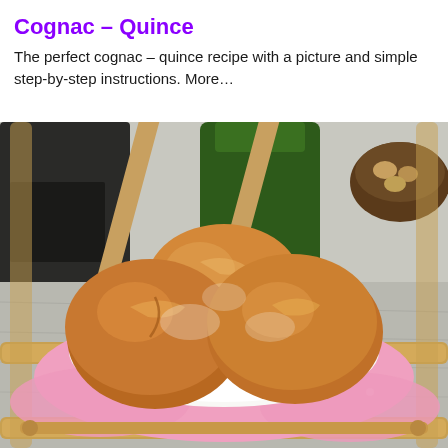Cognac – Quince
The perfect cognac – quince recipe with a picture and simple step-by-step instructions. More…
[Figure (photo): Photo of three golden-brown round baked buns on a white plate, placed on a pink polka-dot cloth on a bamboo tray. A dark bottle and green bottle are visible in the background along with a basket with nuts.]